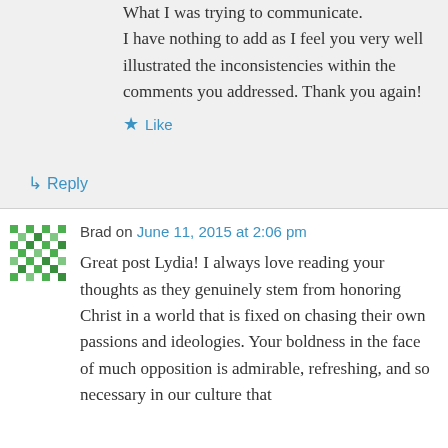What I was trying to communicate. I have nothing to add as I feel you very well illustrated the inconsistencies within the comments you addressed. Thank you again!
Like
Reply
Brad on June 11, 2015 at 2:06 pm
Great post Lydia! I always love reading your thoughts as they genuinely stem from honoring Christ in a world that is fixed on chasing their own passions and ideologies. Your boldness in the face of much opposition is admirable, refreshing, and so necessary in our culture that